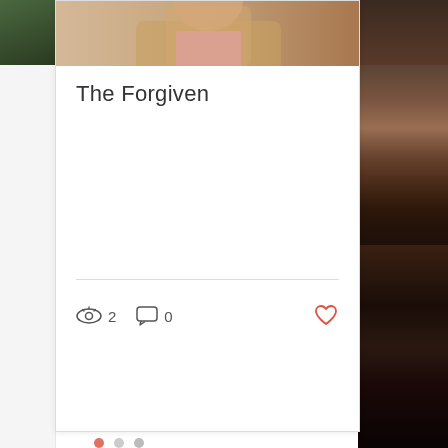[Figure (screenshot): Website card UI showing movie/content card for 'The Forgiven' with a photo of a man in a beige jacket and pink shirt at the top, view count of 2, comment count of 0, and a heart/like button. Pagination dots below the card. Right side shows a dark photo of an audience in a theater.]
The Forgiven
2  0